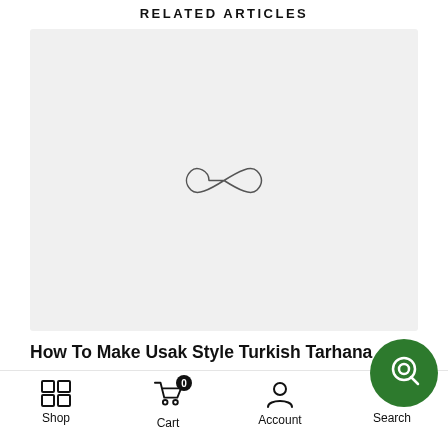RELATED ARTICLES
[Figure (illustration): Light grey placeholder image with a thin infinity/loop loading spinner icon in the center]
How To Make Usak Style Turkish Tarhana
Shop  Cart 0  Account  Search